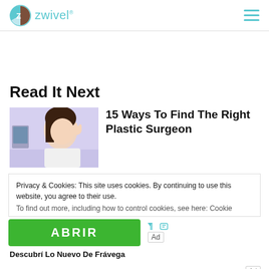zwivel
Read It Next
[Figure (photo): Woman touching her face in a clinical setting]
15 Ways To Find The Right Plastic Surgeon
Privacy & Cookies: This site uses cookies. By continuing to use this website, you agree to their use.
To find out more, including how to control cookies, see here: Cookie
[Figure (other): ABRIR advertisement button - green button with text ABRIR and Ad badge]
Descubrí Lo Nuevo De Frávega